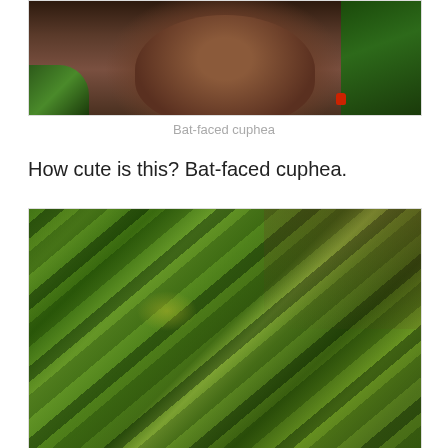[Figure (photo): Close-up photo of a terracotta clay pot surrounded by green foliage, with a small red flower visible at lower right]
Bat-faced cuphea
How cute is this? Bat-faced cuphea.
[Figure (photo): Close-up macro photo of green plant leaves/blades with yellow spots and brownish-red coloring, slightly blurred]